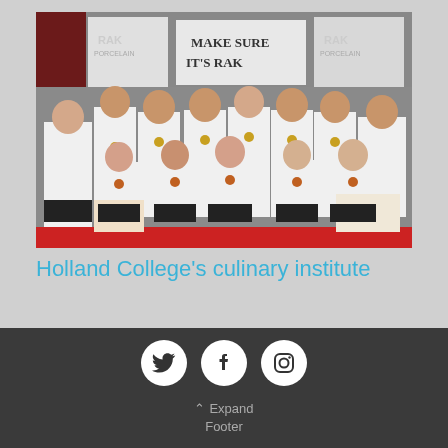[Figure (photo): Group photo of Holland College culinary institute students and instructors in white chef uniforms with medals, standing and kneeling in front of a RAK Porcelain branded banner that reads 'Make Sure It's RAK'. Students in front row are kneeling and holding certificates. Red carpet on the floor.]
Holland College's culinary institute
Expand Footer